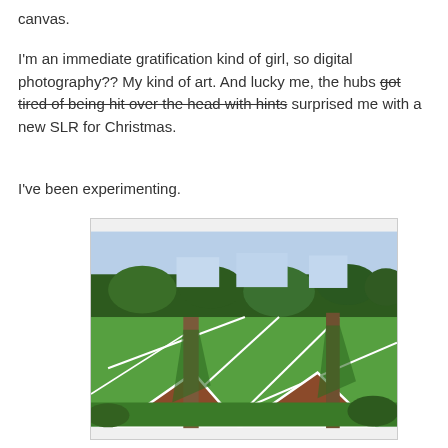canvas.
I'm an immediate gratification kind of girl, so digital photography?? My kind of art. And lucky me, the hubs got tired of being hit over the head with hints surprised me with a new SLR for Christmas.
I've been experimenting.
[Figure (photo): Outdoor photo taken from low angle looking up at tree trunks with diamond-shaped mulch beds framed in white borders on a green lawn, with trees and sky in the background.]